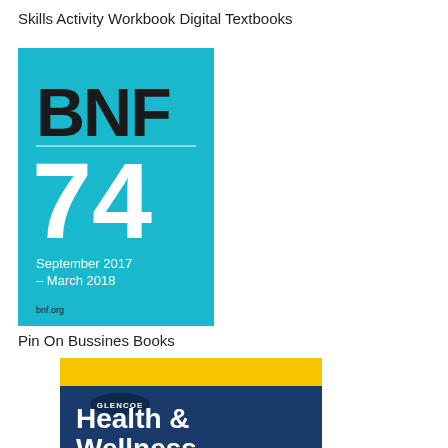Skills Activity Workbook Digital Textbooks
[Figure (illustration): BNF 74 book cover with cyan/turquoise background. Text reads: BNF (bold black large), 74 (large white number), September 2017 – March 2018, bnf.org]
Pin On Bussines Books
[Figure (illustration): Glencoe Health & Wellness textbook cover with yellow top band, blue lower section, and large white text reading 'Health & Wellness'. The word GLENCOE appears in small white text on a dark oval badge.]